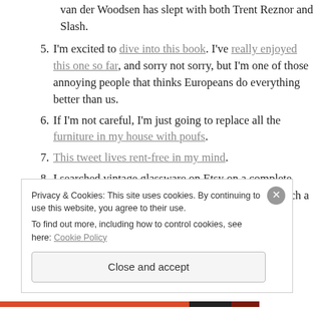van der Woodsen has slept with both Trent Reznor and Slash.
I'm excited to dive into this book. I've really enjoyed this one so far, and sorry not sorry, but I'm one of those annoying people that thinks Europeans do everything better than us.
If I'm not careful, I'm just going to replace all the furniture in my house with poufs.
This tweet lives rent-free in my mind.
I searched vintage glassware on Etsy on a complete whim and found this set of floral glasses. They match a juice pitcher that belonged to my husband's late grandmother almost perfectly! They
Privacy & Cookies: This site uses cookies. By continuing to use this website, you agree to their use.
To find out more, including how to control cookies, see here: Cookie Policy
Close and accept